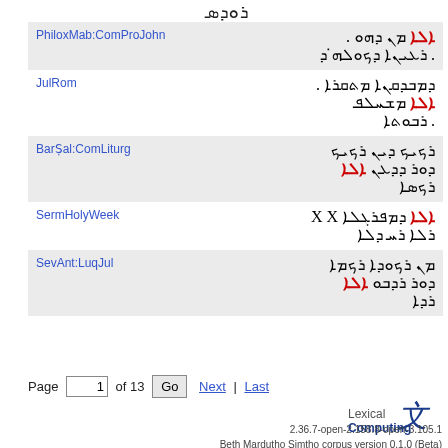Syriac text at top (partially visible)
| Source | Text |
| --- | --- |
| PhiloxMab:ComProJohn | [Syriac text with red word] |
| JulRom | [Syriac text with red word] |
| BarṢal:ComLiturg | [Syriac text with red word] |
| SermHolyWeek | [Syriac text with red word] X X [Syriac text] |
| SevAnt:LuqJul | [Syriac text with red word] |
Page 1 of 13  Go  Next | Last
[Figure (logo): Lexical Computing logo with stylized text character]
2.36.7-open-2.158.8-open-3.105.1
Beth Mardutho Simtho corpus version 0.1.0 (Beta)